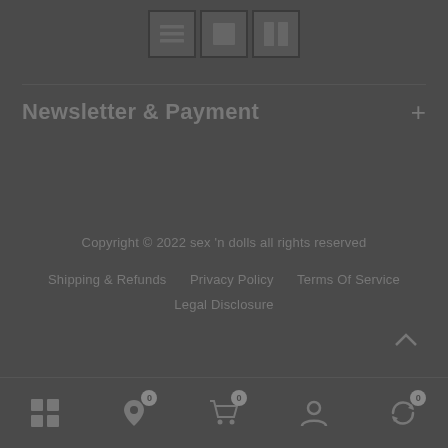[Figure (other): Three toolbar/view-mode icons: list view, single column view, two-column view]
Newsletter & Payment
Copyright © 2022 sex 'n dolls all rights reserved
Shipping & Refunds   Privacy Policy   Terms Of Service   Legal Disclosure
[Figure (other): Back to top chevron arrow icon]
[Figure (other): Bottom navigation bar with: grid/menu icon, location/tag icon with badge 0, shopping cart icon with badge 0, user/person icon, refresh/sync icon with badge 0]